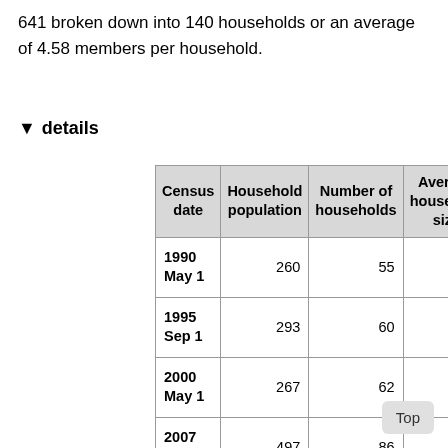641 broken down into 140 households or an average of 4.58 members per household.
▼ details
| Census date | Household population | Number of households | Average household size |
| --- | --- | --- | --- |
| 1990 May 1 | 260 | 55 | 4.73 |
| 1995 Sep 1 | 293 | 60 | 4.88 |
| 2000 May 1 | 267 | 62 | 4.31 |
| 2007 Aug 1 | 497 | 86 | 5.78 |